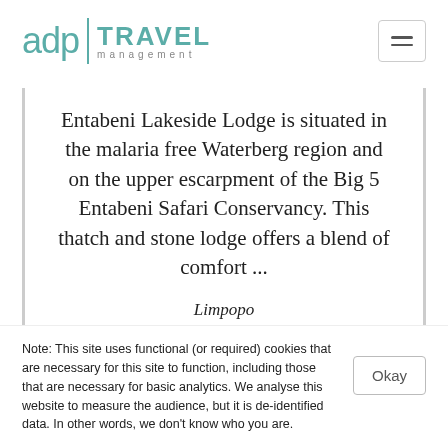[Figure (logo): ADP Travel Management logo — teal/green colored 'adp' text with a vertical divider bar, followed by 'TRAVEL' in large teal uppercase bold and 'management' in smaller spaced lowercase gray text]
Entabeni Lakeside Lodge is situated in the malaria free Waterberg region and on the upper escarpment of the Big 5 Entabeni Safari Conservancy. This thatch and stone lodge offers a blend of comfort ...
Limpopo
Hotel Included. Self-drive
Note: This site uses functional (or required) cookies that are necessary for this site to function, including those that are necessary for basic analytics. We analyse this website to measure the audience, but it is de-identified data. In other words, we don't know who you are.